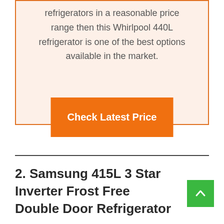refrigerators in a reasonable price range then this Whirlpool 440L refrigerator is one of the best options available in the market.
Check Latest Price
2. Samsung 415L 3 Star Inverter Frost Free Double Door Refrigerator